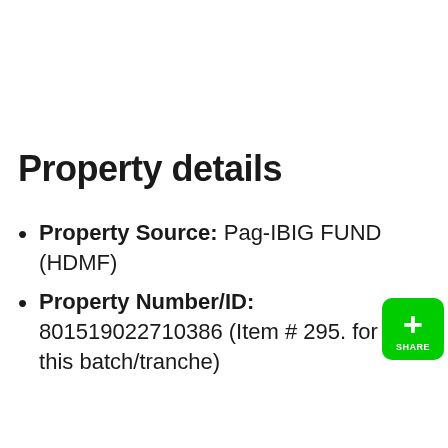Property details
Property Source: Pag-IBIG FUND (HDMF)
Property Number/ID: 801519022710386 (Item # 295. for this batch/tranche)